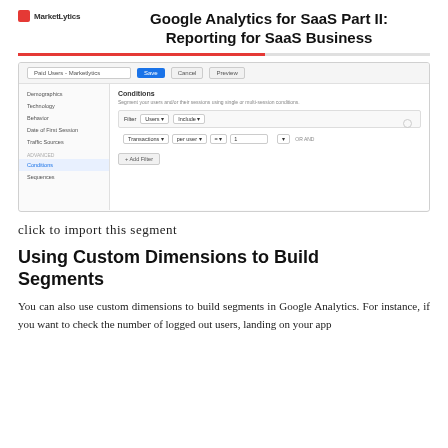Google Analytics for SaaS Part II: Reporting for SaaS Business
[Figure (screenshot): Google Analytics segment editor showing Conditions panel with filter: Users > Include > Transactions per user = 1, with sidebar showing Demographics, Technology, Behavior, Date of First Session, Traffic Sources, and Conditions selected under Advanced]
click to import this segment
Using Custom Dimensions to Build Segments
You can also use custom dimensions to build segments in Google Analytics. For instance, if you want to check the number of logged out users, landing on your app